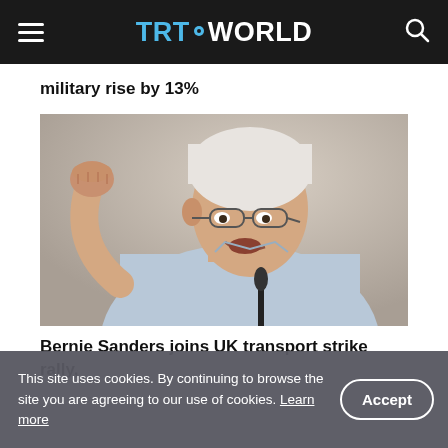TRT WORLD
military rise by 13%
[Figure (photo): An elderly man with white hair and glasses, wearing a light blue shirt, raises his fist while speaking passionately at a microphone. This appears to be Bernie Sanders at a rally.]
Bernie Sanders joins UK transport strike rally,
This site uses cookies. By continuing to browse the site you are agreeing to our use of cookies. Learn more